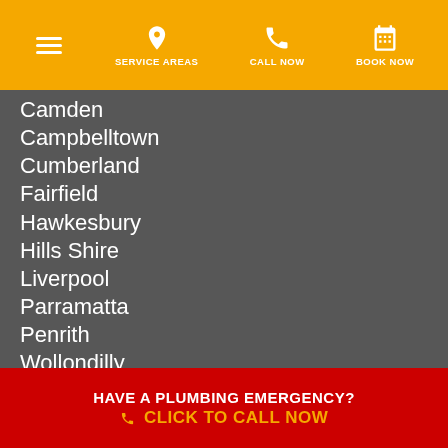SERVICE AREAS | CALL NOW | BOOK NOW
Camden
Campbelltown
Cumberland
Fairfield
Hawkesbury
Hills Shire
Liverpool
Parramatta
Penrith
Wollondilly
Emergency Plumber
North Shore
Northern Beaches
HAVE A PLUMBING EMERGENCY? CLICK TO CALL NOW